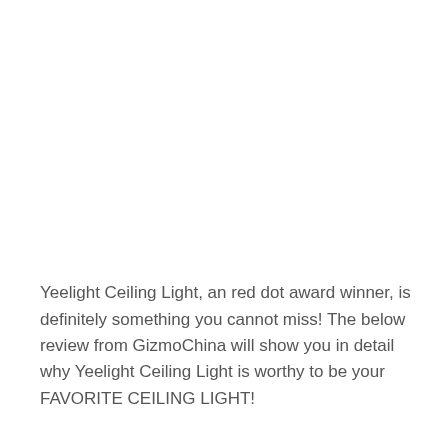Yeelight Ceiling Light, an red dot award winner, is definitely something you cannot miss! The below review from GizmoChina will show you in detail why Yeelight Ceiling Light is worthy to be your FAVORITE CEILING LIGHT!